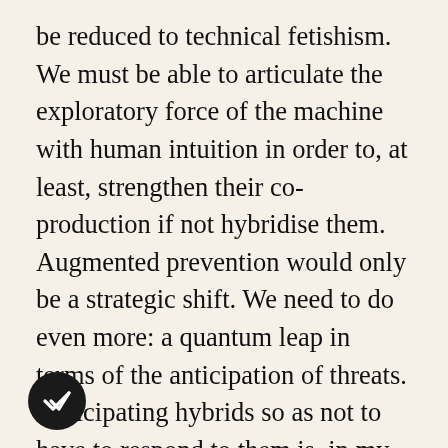be reduced to technical fetishism. We must be able to articulate the exploratory force of the machine with human intuition in order to, at least, strengthen their co-production if not hybridise them. Augmented prevention would only be a strategic shift. We need to do even more: a quantum leap in terms of the anticipation of threats. Anticipating hybrids so as not to have to respond to them is, in my opinion, the way to understand the logic of “winning the war before the war”, to quote the Chief of Staff of the Armed Forces. This would imply rethinking the methods and tools of strategic foresight, paying renewed attention to the early detection of “weak signals”, in order to nip future threats in the bud before they emerge. Perceiving and characterising the